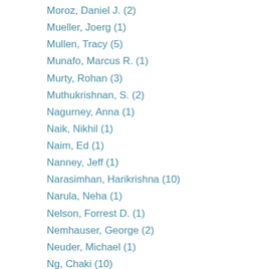Moroz, Daniel J. (2)
Mueller, Joerg (1)
Mullen, Tracy (5)
Munafo, Marcus R. (1)
Murty, Rohan (3)
Muthukrishnan, S. (2)
Nagurney, Anna (1)
Naik, Nikhil (1)
Naim, Ed (1)
Nanney, Jeff (1)
Narasimhan, Harikrishna (10)
Narula, Neha (1)
Nelson, Forrest D. (1)
Nemhauser, George (2)
Neuder, Michael (1)
Ng, Chaki (10)
Nguyen, Thanh (1)
Nikolova, Evdokia (2)
Nissim, Kobbi (1)
Noronha, Jon (1)